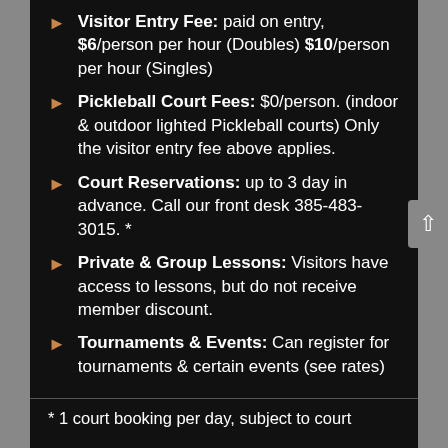Visitor Entry Fee: paid on entry, $6/person per hour (Doubles) $10/person per hour (Singles)
Pickleball Court Fees: $0/person. (indoor & outdoor lighted Pickleball courts) Only the visitor entry fee above applies.
Court Reservations: up to 3 day in advance. Call our front desk 385-483-3015. *
Private & Group Lessons: Visitors have access to lessons, but do not receive member discount.
Tournaments & Events: Can register for tournaments & certain events (see rates)
* 1 court booking per day, subject to court